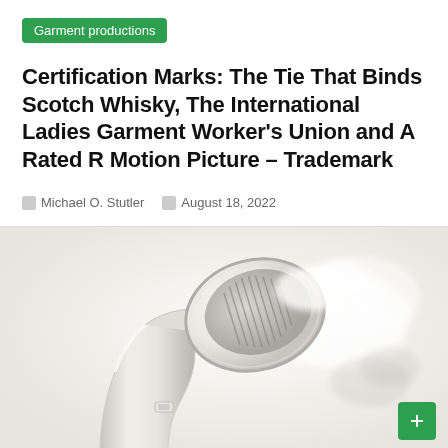Garment productions
Certification Marks: The Tie That Binds Scotch Whisky, The International Ladies Garment Worker’s Union and A Rated R Motion Picture – Trademark
Michael O. Stutler  |  August 18, 2022
[Figure (photo): Close-up photo of a white handheld garment steamer with steam coming from the head, on a light neutral background]